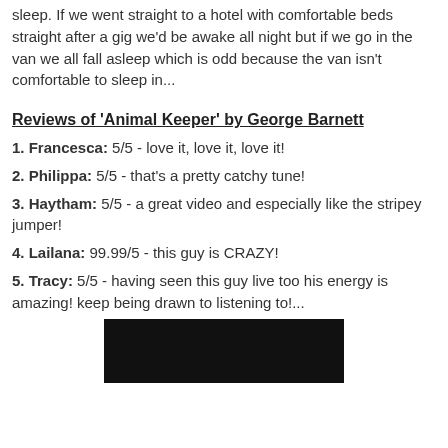sleep. If we went straight to a hotel with comfortable beds straight after a gig we'd be awake all night but if we go in the van we all fall asleep which is odd because the van isn't comfortable to sleep in...
Reviews of 'Animal Keeper' by George Barnett
1. Francesca: 5/5 - love it, love it, love it!
2. Philippa: 5/5 - that's a pretty catchy tune!
3. Haytham: 5/5 - a great video and especially like the stripey jumper!
4. Lailana: 99.99/5 - this guy is CRAZY!
5. Tracy: 5/5 - having seen this guy live too his energy is amazing! keep being drawn to listening to!...
[Figure (photo): Dark/black image thumbnail at bottom of page]